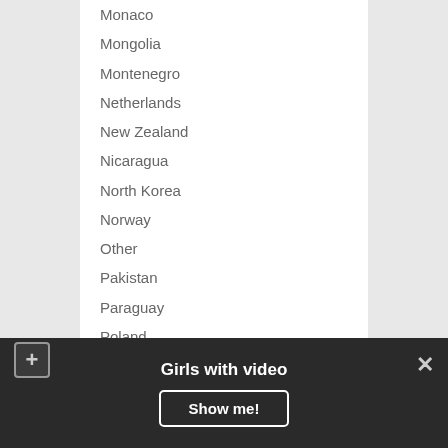Monaco
Mongolia
Montenegro
Netherlands
New Zealand
Nicaragua
North Korea
Norway
Other
Pakistan
Paraguay
Poland
Portugal
Romania
Serbia
Singapore
Slovakia
Slovenia
South Africa
Girls with video
Show me!